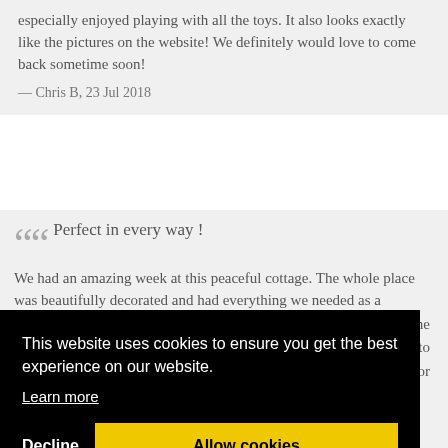especially enjoyed playing with all the toys. It also looks exactly like the pictures on the website! We definitely would love to come back sometime soon!
— Chris B, 23 Jul 2018
Perfect in every way ! We had an amazing week at this peaceful cottage. The whole place was beautifully decorated and had everything we needed as a [family/group]... [one] ... [t to] ... [s for]
This website uses cookies to ensure you get the best experience on our website.
Learn more
Decline
Allow cookies
Fabulous Property, Wonderful attention to